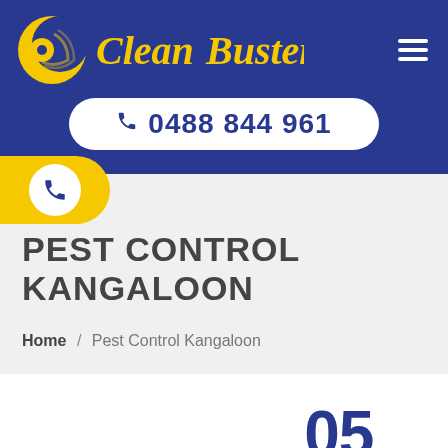[Figure (logo): Clean Busters logo with crescent moon and circular shapes in yellow/gold, with 'Clean Busters' text in yellow italic script on blue background]
0488 844 961
PEST CONTROL KANGALOON
Home / Pest Control Kangaloon
05 APR 2019